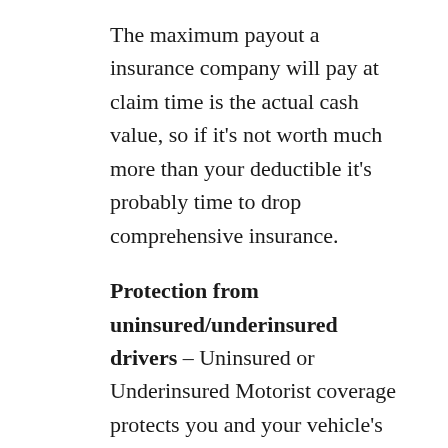The maximum payout a insurance company will pay at claim time is the actual cash value, so if it's not worth much more than your deductible it's probably time to drop comprehensive insurance.
Protection from uninsured/underinsured drivers – Uninsured or Underinsured Motorist coverage protects you and your vehicle's occupants from other motorists when they do not carry enough liability coverage. It can pay for injuries to you and your family as well